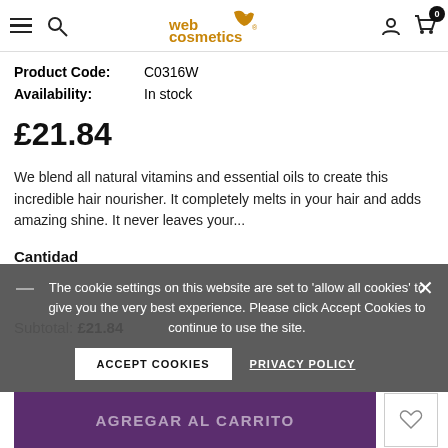web cosmetics (logo with navigation icons)
Product Code: C0316W
Availability: In stock
£21.84
We blend all natural vitamins and essential oils to create this incredible hair nourisher. It completely melts in your hair and adds amazing shine. It never leaves your...
Cantidad
Subtotal: £21.84
AGREGAR AL CARRITO
The cookie settings on this website are set to 'allow all cookies' to give you the very best experience. Please click Accept Cookies to continue to use the site.
ACCEPT COOKIES
PRIVACY POLICY